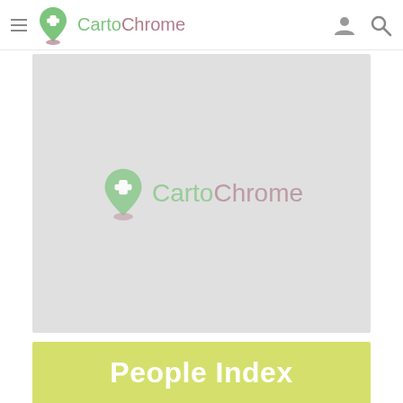CartoChrome navigation bar with logo, hamburger menu, user icon, and search icon
[Figure (screenshot): Light gray map placeholder area with the CartoChrome logo (location pin icon in green and pink shadow, text 'Carto' in green and 'Chrome' in muted pink) centered in the middle of the map region]
People Index